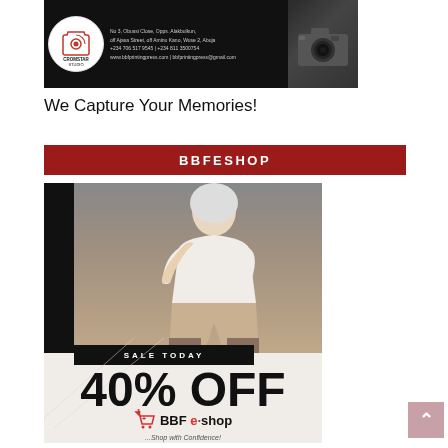[Figure (photo): Cromstar Studio advertisement banner on dark background with logo, contact info, and camera image. Text: No 3, Obussi Close, Opps. Alakbulkun, off Ajasa Street, off Aminu Kano, Wuse 2, Abuja, +234 706 517 9545 | +234 811 3500754, www.bbfprintingpress.com | bbfprintingpress@gmail.com]
We Capture Your Memories!
BBFESHOP
[Figure (photo): BBFeshop advertisement featuring a fashion model in white sweater and beige pants seated, with 'SALE TODAY' banner, '40% OFF' text, BBF e-shop logo with shopping cart icon, and tagline '...Shop with Confidence!']